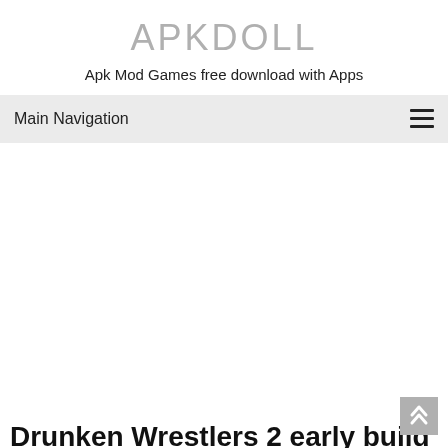APKDOLL
Apk Mod Games free download with Apps
Main Navigation
Drunken Wrestlers 2 early build